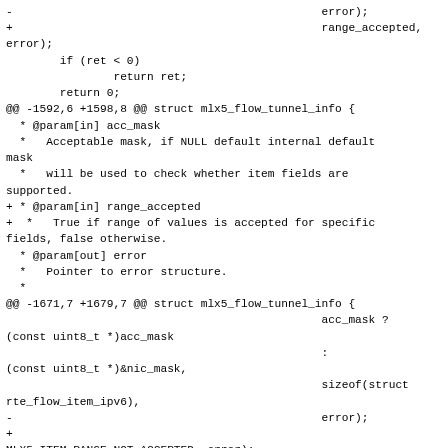Diff/patch code block showing changes to mlx5 flow tunnel info structure, including range_accepted parameter addition and MLX5_ITEM_RANGE_NOT_ACCEPTED error handling.